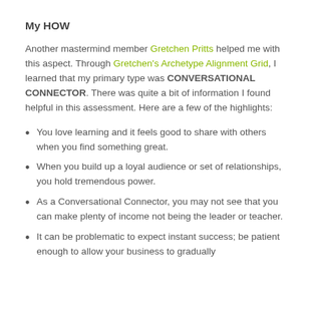My HOW
Another mastermind member Gretchen Pritts helped me with this aspect. Through Gretchen's Archetype Alignment Grid, I learned that my primary type was CONVERSATIONAL CONNECTOR. There was quite a bit of information I found helpful in this assessment. Here are a few of the highlights:
You love learning and it feels good to share with others when you find something great.
When you build up a loyal audience or set of relationships, you hold tremendous power.
As a Conversational Connector, you may not see that you can make plenty of income not being the leader or teacher.
It can be problematic to expect instant success; be patient enough to allow your business to gradually